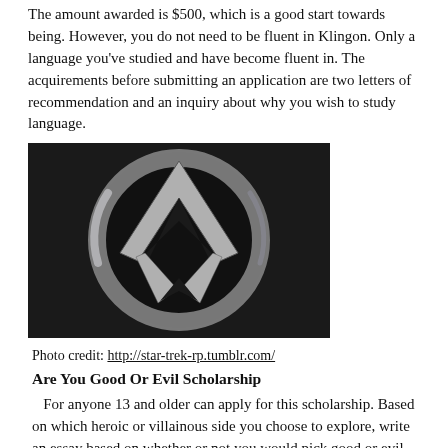The amount awarded is $500, which is a good start towards being. However, you do not need to be fluent in Klingon. Only a language you've studied and have become fluent in. The acquirements before submitting an application are two letters of recommendation and an inquiry about why you wish to study language.
[Figure (photo): A metallic silver Star Trek Starfleet insignia/communicator badge against a dark black background. The emblem features the iconic arrowhead/chevron shape with a circular ring element.]
Photo credit: http://star-trek-rp.tumblr.com/
Are You Good Or Evil Scholarship
For anyone 13 and older can apply for this scholarship. Based on which heroic or villainous side you choose to explore, write an essay based on whether or not you would pick good or evil. The battle for good vs. Evil is